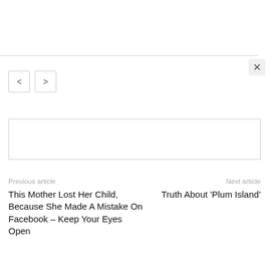[Figure (screenshot): Browser UI element: close button (×) in top right, navigation back/forward buttons (<  >) below]
[Figure (other): Empty advertisement placeholder box with light border]
Previous article
Next article
This Mother Lost Her Child, Because She Made A Mistake On Facebook – Keep Your Eyes Open
Truth About 'Plum Island'